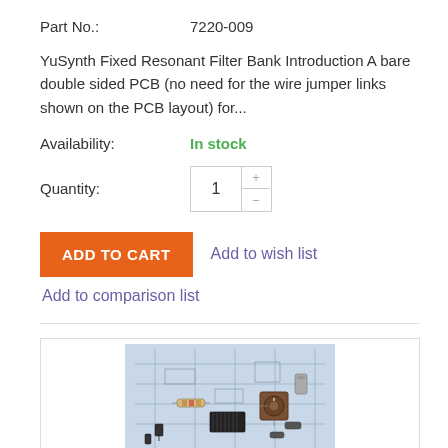Part No.:    7220-009
YuSynth Fixed Resonant Filter Bank Introduction A bare double sided PCB (no need for the wire jumper links shown on the PCB layout) for...
Availability:    In stock
Quantity:    1
[Figure (screenshot): ADD TO CART button (orange) and Add to wish list link (purple)]
Add to comparison list
[Figure (photo): Photo of electronic components on a PCB layout background, showing resistors, capacitors, ICs, a potentiometer, and other components on a blue circuit diagram background]